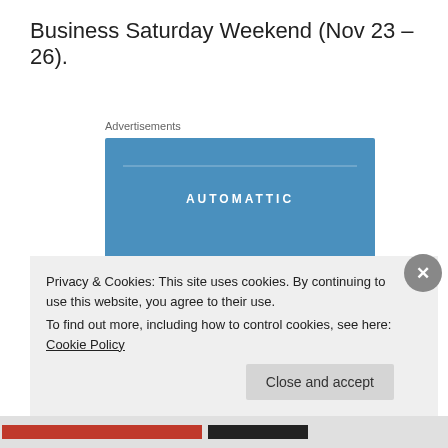Business Saturday Weekend (Nov 23 – 26).
Advertisements
[Figure (other): Automattic advertisement banner with blue background. Shows 'AUTOMATTIC' brand name at top, slogan 'Love working again.' and an 'Apply' button below.]
Privacy & Cookies: This site uses cookies. By continuing to use this website, you agree to their use.
To find out more, including how to control cookies, see here: Cookie Policy
Close and accept